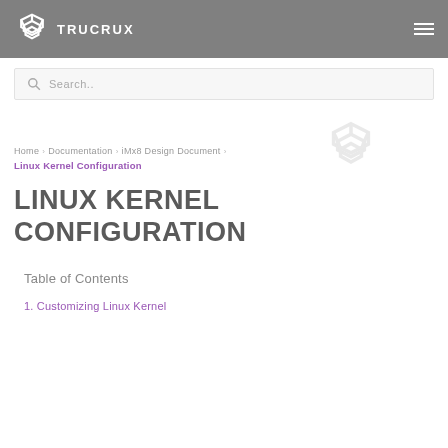TRUCRUX
[Figure (logo): Trucrux logo with stacked hexagonal icon and wordmark TRUCRUX in white on grey background]
Search..
Home > Documentation > iMx8 Design Document > Linux Kernel Configuration
LINUX KERNEL CONFIGURATION
Table of Contents
1. Customizing Linux Kernel